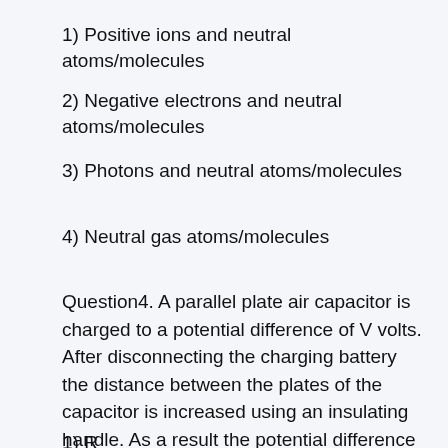1) Positive ions and neutral atoms/molecules
2) Negative electrons and neutral atoms/molecules
3) Photons and neutral atoms/molecules
4) Neutral gas atoms/molecules
Question4. A parallel plate air capacitor is charged to a potential difference of V volts. After disconnecting the charging battery the distance between the plates of the capacitor is increased using an insulating handle. As a result the potential difference between the plates:
1) R...